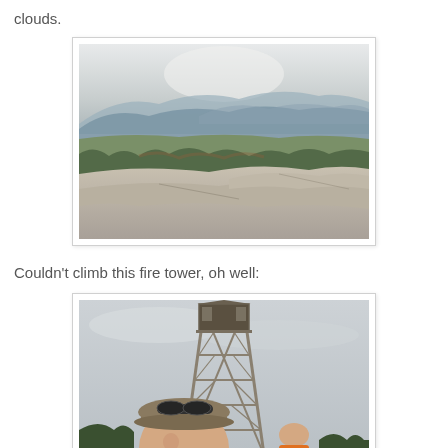clouds.
[Figure (photo): Mountain landscape view from rocky summit, showing rolling forested hills and distant hazy mountain ridges under an overcast sky.]
Couldn't climb this fire tower, oh well:
[Figure (photo): A metal fire lookout tower with cross-braced steel frame against a cloudy sky; a person in a cap with sunglasses on their head takes a selfie in the foreground, and another person in orange is visible in the background.]